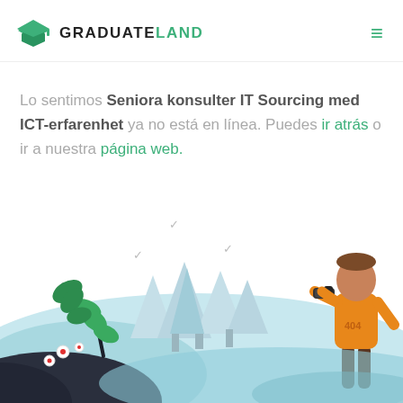[Figure (logo): Graduateland logo with green graduation cap icon and text GRADUATELAND]
Lo sentimos Seniora konsulter IT Sourcing med ICT-erfarenhet ya no está en línea. Puedes ir atrás o ir a nuestra página web.
[Figure (illustration): 404 error illustration with trees, birds, a person with binoculars wearing orange sweater labeled 404, and decorative plants with flowers on dark hill]